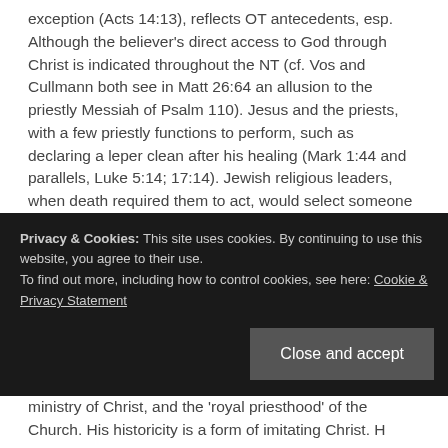exception (Acts 14:13), reflects OT antecedents, esp. Although the believer's direct access to God through Christ is indicated throughout the NT (cf. Vos and Cullmann both see in Matt 26:64 an allusion to the priestly Messiah of Psalm 110). Jesus and the priests, with a few priestly functions to perform, such as declaring a leper clean after his healing (Mark 1:44 and parallels, Luke 5:14; 17:14). Jewish religious leaders, when death required them to act, would select someone to serve in this important responsibility based on a variety of factors. Herod's first appointment to the position of High Priest was a man named Ananelus (Ananel), whom the Jewish historian Josephus describes as 'an obscure priest out of Babylon' (Antiquities of the Jews, Book 15,
Privacy & Cookies: This site uses cookies. By continuing to use this website, you agree to their use.
To find out more, including how to control cookies, see here: Cookie & Privacy Statement
Close and accept
ministry of Christ, and the 'royal priesthood' of the Church. His historicity is a form of imitating Christ. H...